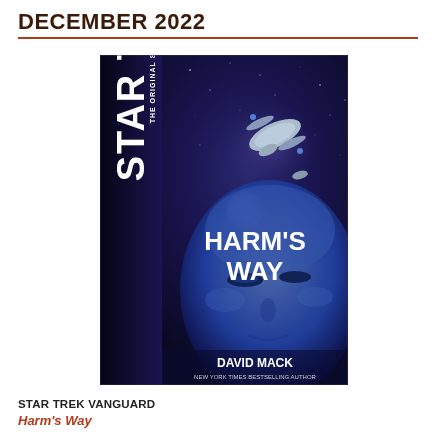DECEMBER 2022
[Figure (photo): Book cover of Star Trek: The Original Series – Harm's Way by David Mack. Features the Star Trek logo running vertically on the left spine, a starship Enterprise in space above a glowing moon, and a large blue alien face in the foreground. Bold text reads HARM'S WAY. Author credit: DAVID MACK, NEW YORK TIMES BESTSELLING AUTHOR.]
STAR TREK VANGUARD
Harm's Way